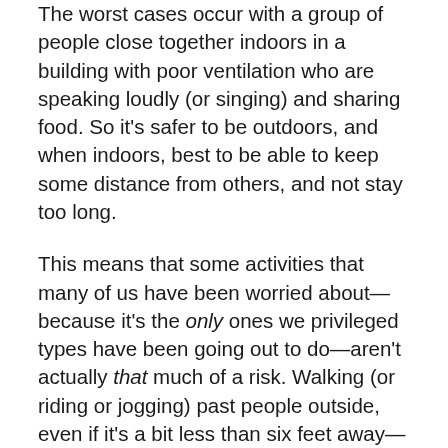The worst cases occur with a group of people close together indoors in a building with poor ventilation who are speaking loudly (or singing) and sharing food. So it's safer to be outdoors, and when indoors, best to be able to keep some distance from others, and not stay too long.
This means that some activities that many of us have been worried about—because it's the only ones we privileged types have been going out to do—aren't actually that much of a risk. Walking (or riding or jogging) past people outside, even if it's a bit less than six feet away—is not that risky because the interaction is so brief and the virus doesn't transmit that well in open air.
Going to the grocery store? Also not that bad, because you're not there that long, the number of people is restricted such that it's not crowded, and you're moving around fairly quickly at different angles. Plus, with the